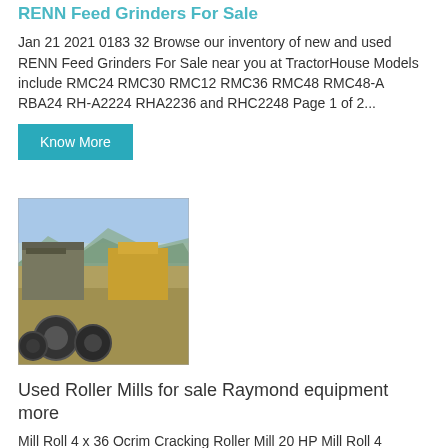RENN Feed Grinders For Sale
Jan 21 2021 0183 32 Browse our inventory of new and used RENN Feed Grinders For Sale near you at TractorHouse Models include RMC24 RMC30 RMC12 RMC36 RMC48 RMC48-A RBA24 RH-A2224 RHA2236 and RHC2248 Page 1 of 2...
Know More
[Figure (photo): Outdoor photo showing industrial equipment including yellow machinery, tires, and a box-like structure with mountains and sky in the background]
Used Roller Mills for sale Raymond equipment more
Mill Roll 4 x 36 Ocrim Cracking Roller Mill 20 HP Mill Roll 4